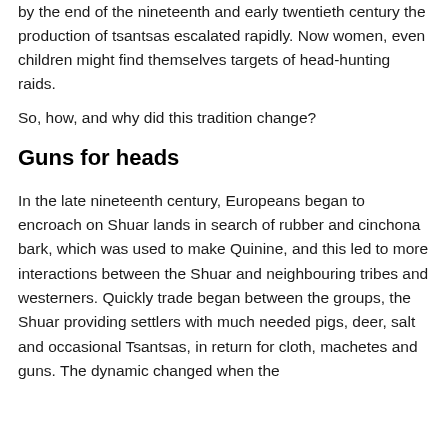by the end of the nineteenth and early twentieth century the production of tsantsas escalated rapidly. Now women, even children might find themselves targets of head-hunting raids.
So, how, and why did this tradition change?
Guns for heads
In the late nineteenth century, Europeans began to encroach on Shuar lands in search of rubber and cinchona bark, which was used to make Quinine, and this led to more interactions between the Shuar and neighbouring tribes and westerners. Quickly trade began between the groups, the Shuar providing settlers with much needed pigs, deer, salt and occasional Tsantsas, in return for cloth, machetes and guns. The dynamic changed when the